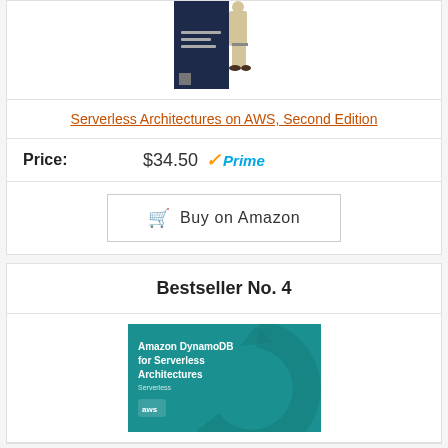[Figure (photo): Book cover for Serverless Architectures on AWS, Second Edition, partially cropped at top]
Serverless Architectures on AWS, Second Edition
Price: $34.50 Prime
Buy on Amazon
Bestseller No. 4
[Figure (photo): Book cover for Amazon DynamoDB for Serverless Architectures — teal background with AWS logo and circular arrow graphic]
Amazon DynamoDB for Serverless Architectures